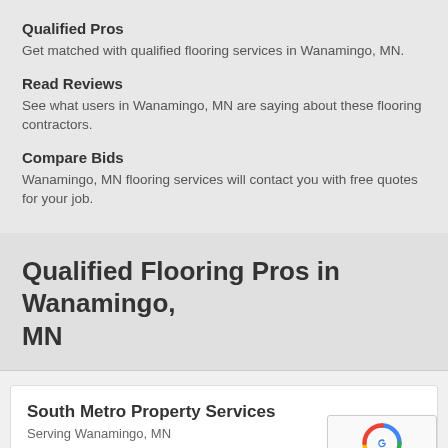Qualified Pros
Get matched with qualified flooring services in Wanamingo, MN.
Read Reviews
See what users in Wanamingo, MN are saying about these flooring contractors.
Compare Bids
Wanamingo, MN flooring services will contact you with free quotes for your job.
Qualified Flooring Pros in Wanamingo, MN
South Metro Property Services
Serving Wanamingo, MN
★★★★½  Get Free Qu...